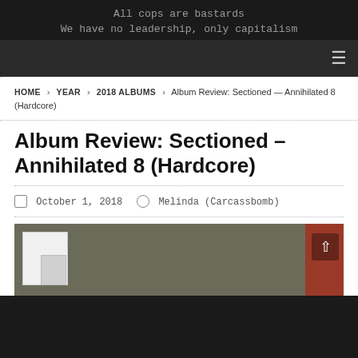All cops are bastards
We have no leadership, only capitalism
HOME > YEAR > 2018 ALBUMS > Album Review: Sectioned — Annihilated 8 (Hardcore)
Album Review: Sectioned – Annihilated 8 (Hardcore)
October 1, 2018   Melinda (Carcassbomb)
[Figure (photo): Album cover or related image for Sectioned – Annihilated 8, showing a dark wooded background with a white geometric shape overlay on the left and a red element on the right, with an up-arrow navigation button.]